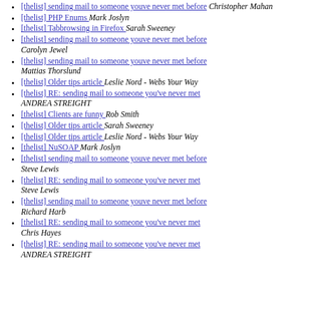[thelist] sending mail to someone youve never met before  Christopher Mahan
[thelist] PHP Enums   Mark Joslyn
[thelist] Tabbrowsing in Firefox   Sarah Sweeney
[thelist] sending mail to someone youve never met before  Carolyn Jewel
[thelist] sending mail to someone youve never met before  Mattias Thorslund
[thelist] Older tips article   Leslie Nord - Webs Your Way
[thelist] RE: sending mail to someone you've never met  ANDREA STREIGHT
[thelist] Clients are funny   Rob Smith
[thelist] Older tips article   Sarah Sweeney
[thelist] Older tips article   Leslie Nord - Webs Your Way
[thelist] NuSOAP   Mark Joslyn
[thelist] sending mail to someone youve never met before  Steve Lewis
[thelist] RE: sending mail to someone you've never met  Steve Lewis
[thelist] sending mail to someone youve never met before  Richard Harb
[thelist] RE: sending mail to someone you've never met  Chris Hayes
[thelist] RE: sending mail to someone you've never met  ANDREA STREIGHT